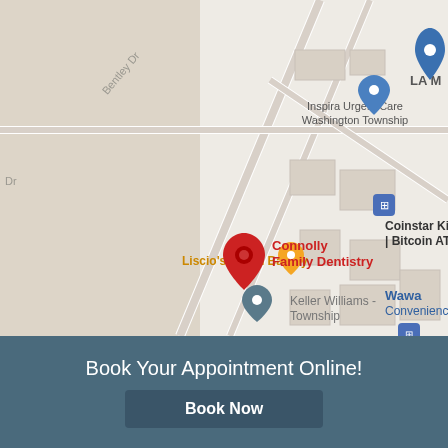[Figure (map): Google Maps screenshot showing the location of Connolly Family Dentistry with surrounding landmarks including Inspira Urgent Care Washington Township, Liscio's Italian Bakery, Coinstar Kiosk Bitcoin ATM, Wawa Convenience store, and Keller Williams Township.]
Book Your Appointment Online!
Book Now